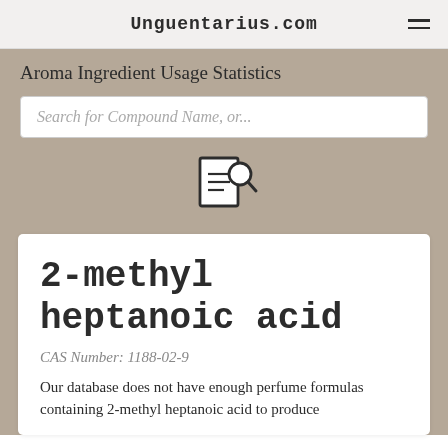Unguentarius.com
Aroma Ingredient Usage Statistics
Search for Compound Name, or...
[Figure (other): Search document icon with magnifying glass]
2-methyl heptanoic acid
CAS Number: 1188-02-9
Our database does not have enough perfume formulas containing 2-methyl heptanoic acid to produce